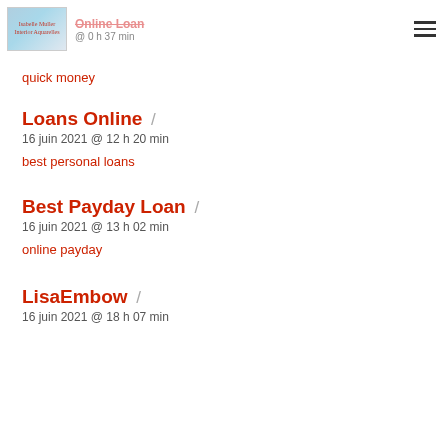Online Loan  / 0 h 37 min
quick money
Loans Online /
16 juin 2021 @ 12 h 20 min
best personal loans
Best Payday Loan /
16 juin 2021 @ 13 h 02 min
online payday
LisaEmbow /
16 juin 2021 @ 18 h 07 min